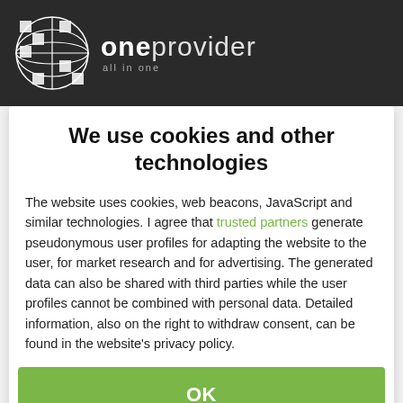[Figure (logo): OneProvider logo with globe icon and 'oneprovider all in one' text on dark background]
We use cookies and other technologies
The website uses cookies, web beacons, JavaScript and similar technologies. I agree that trusted partners generate pseudonymous user profiles for adapting the website to the user, for market research and for advertising. The generated data can also be shared with third parties while the user profiles cannot be combined with personal data. Detailed information, also on the right to withdraw consent, can be found in the website's privacy policy.
OK
Reject
More information